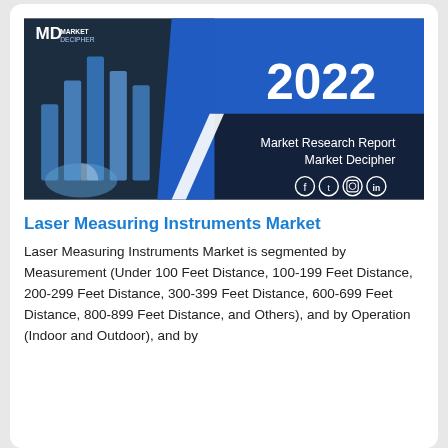[Figure (illustration): Market Decipher 2022 Market Research Report cover image with blue and dark navy design, showing bar charts, a pie chart, 2022 in large text, and social media icons.]
Laser Measuring Instruments Market
Laser Measuring Instruments Market is segmented by Measurement (Under 100 Feet Distance, 100-199 Feet Distance, 200-299 Feet Distance, 300-399 Feet Distance, 600-699 Feet Distance, 800-899 Feet Distance, and Others), and by Operation (Indoor and Outdoor), and by